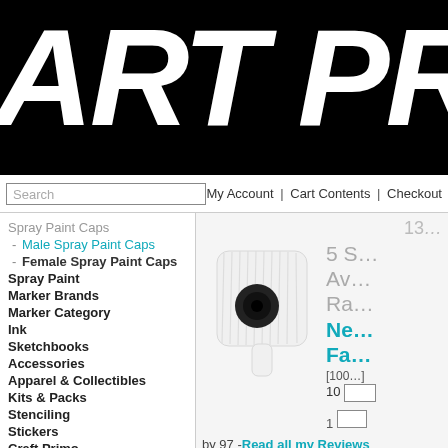ART PRIM
Search | My Account | Cart Contents | Checkout
Spray Paint Caps
- Male Spray Paint Caps
- Female Spray Paint Caps
Spray Paint
Marker Brands
Marker Category
Ink
Sketchbooks
Accessories
Apparel & Collectibles
Kits & Packs
Stenciling
Stickers
Craft Primo
[Figure (photo): White female spray paint cap with black nozzle, product photo on white background]
13...
5 S... Av... Ra... Ne... Fa... [100...] 10
1
by 97 - Read all my Reviews
an all time favorite for me. Can be a...